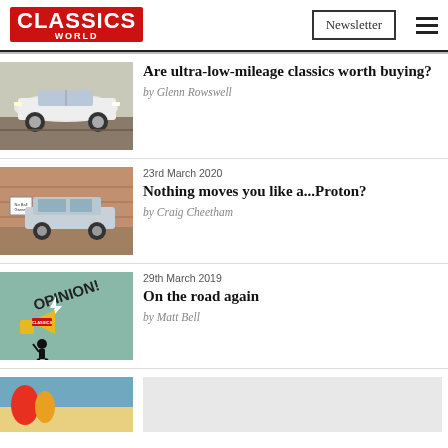CLASSICS WORLD | Newsletter | Menu
[Figure (photo): White BMW M3 E30 parked on a road, side view]
Are ultra-low-mileage classics worth buying?
by Glenn Rowswell
23rd March 2020
[Figure (photo): Silver Proton saloon car parked outside a building with a No Ball Games sign]
Nothing moves you like a...Proton?
by Craig Cheetham
29th March 2019
[Figure (illustration): Opinion illustration: cartoon figure with megaphone saying OPINION! with Classics World branding]
On the road again
by Matt Bell
[Figure (photo): Partially visible image at bottom of page, appears to show a beach or holiday scene]